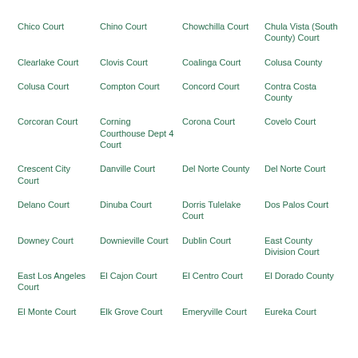Chico Court
Chino Court
Chowchilla Court
Chula Vista (South County) Court
Clearlake Court
Clovis Court
Coalinga Court
Colusa County
Colusa Court
Compton Court
Concord Court
Contra Costa County
Corcoran Court
Corning Courthouse Dept 4 Court
Corona Court
Covelo Court
Crescent City Court
Danville Court
Del Norte County
Del Norte Court
Delano Court
Dinuba Court
Dorris Tulelake Court
Dos Palos Court
Downey Court
Downieville Court
Dublin Court
East County Division Court
East Los Angeles Court
El Cajon Court
El Centro Court
El Dorado County
El Monte Court
Elk Grove Court
Emeryville Court
Eureka Court